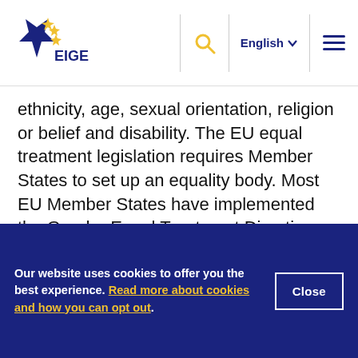EIGE logo | Search | English | Menu
ethnicity, age, sexual orientation, religion or belief and disability. The EU equal treatment legislation requires Member States to set up an equality body. Most EU Member States have implemented the Gender Equal Treatment Directives.
Oversight function: The parliamentary oversight function is a means for holding the executive accountable for its actions and for ensuring that it implements policies in accordance with the laws
Our website uses cookies to offer you the best experience. Read more about cookies and how you can opt out.